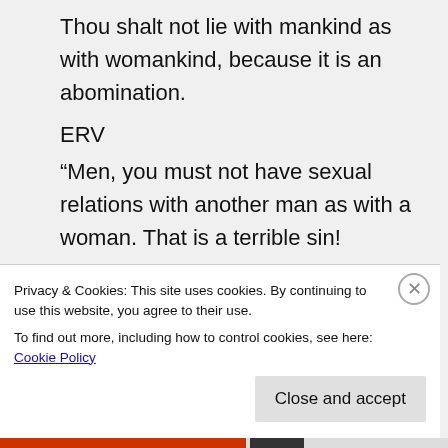Thou shalt not lie with mankind as with womankind, because it is an abomination.
ERV
“Men, you must not have sexual relations with another man as with a woman. That is a terrible sin!
ESV
You shall not lie with a male as with a woman; it is an abomination.
Privacy & Cookies: This site uses cookies. By continuing to use this website, you agree to their use.
To find out more, including how to control cookies, see here: Cookie Policy
Close and accept